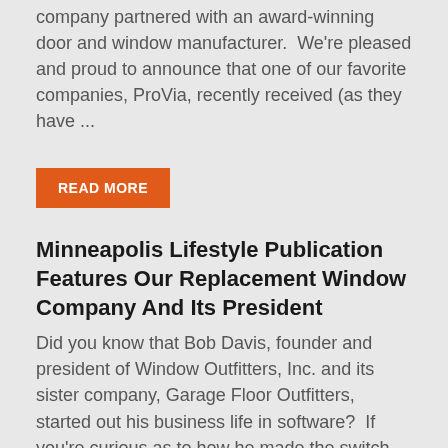company partnered with an award-winning door and window manufacturer.  We're pleased and proud to announce that one of our favorite companies, ProVia, recently received (as they have ...
READ MORE
Minneapolis Lifestyle Publication Features Our Replacement Window Company And Its President
Did you know that Bob Davis, founder and president of Window Outfitters, Inc. and its sister company, Garage Floor Outfitters, started out his business life in software?  If you're curious as to how he made the switch into the exterior home improvement industry, check out the recent article in "City ...
READ MORE